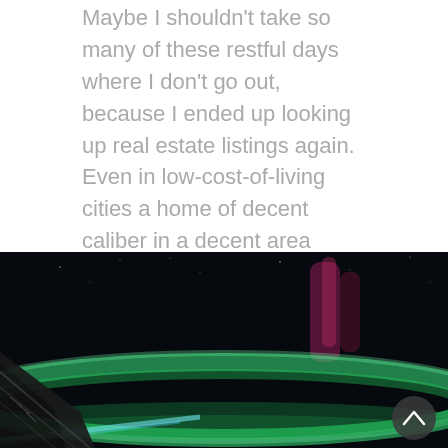Maybe I shouldn't take so many of these restful days where I don't go out, because I ended up looking up real estate listings again. Even in low-cost-of-living cities a home of decent caliber in a decent area (nothing great or luxe, mind you, just ...
CONTINUE READING
JUNE 18, 2022  ADAMAS NEMESIS  LEAVE A COMMENT
[Figure (photo): Aurora borealis (northern lights) photographed from space or high altitude, showing green and magenta/red aurora curtains against a dark sky, with a spacecraft structure visible in the lower left corner and a back-to-top scroll button in the lower right.]